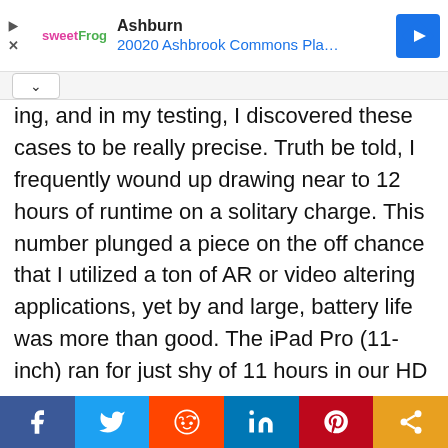[Figure (screenshot): Advertisement banner: sweetFrog logo, 'Ashburn' heading, '20020 Ashbrook Commons Pla...' subtitle in blue, navigation diamond icon on right, play and close icons on left]
ing, and in my testing, I discovered these cases to be really precise. Truth be told, I frequently wound up drawing near to 12 hours of runtime on a solitary charge. This number plunged a piece on the off chance that I utilized a ton of AR or video altering applications, yet by and large, battery life was more than good. The iPad Pro (11-inch) ran for just shy of 11 hours in our HD video circle test. I was significantly more intrigued with the battery life during real utilization considering I had the iPad Pro (11-inch) docked to the Magic
[Figure (infographic): Social share bar with six buttons: Facebook (blue), Twitter (light blue), Reddit (orange-red), LinkedIn (dark blue), Pinterest (red), Share (orange)]